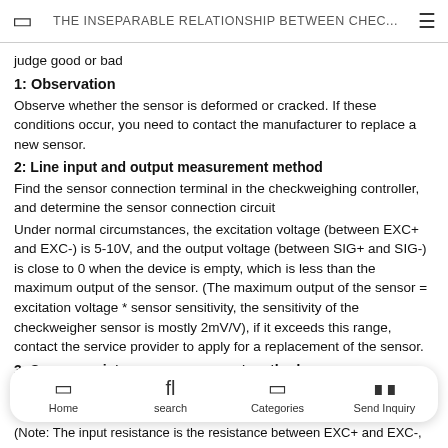THE INSEPARABLE RELATIONSHIP BETWEEN CHEC...
judge good or bad
1: Observation
Observe whether the sensor is deformed or cracked. If these conditions occur, you need to contact the manufacturer to replace a new sensor.
2: Line input and output measurement method
Find the sensor connection terminal in the checkweighing controller, and determine the sensor connection circuit
Under normal circumstances, the excitation voltage (between EXC+ and EXC-) is 5-10V, and the output voltage (between SIG+ and SIG-) is close to 0 when the device is empty, which is less than the maximum output of the sensor. (The maximum output of the sensor = excitation voltage * sensor sensitivity, the sensitivity of the checkweigher sensor is mostly 2mV/V), if it exceeds this range, contact the service provider to apply for a replacement of the sensor.
3: Sensor resistance measurement method
Me
(Note: The input resistance is the resistance between EXC+ and EXC-,